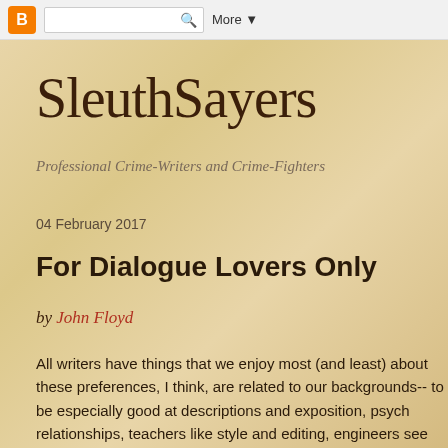Blogger | [search] More ▾
SleuthSayers
Professional Crime-Writers and Crime-Fighters
04 February 2017
For Dialogue Lovers Only
by John Floyd
All writers have things that we enjoy most (and least) about these preferences, I think, are related to our backgrounds-- to be especially good at descriptions and exposition, psych relationships, teachers like style and editing, engineers see structure, etc. Then again, some say our prior and non-writ just like what we like...